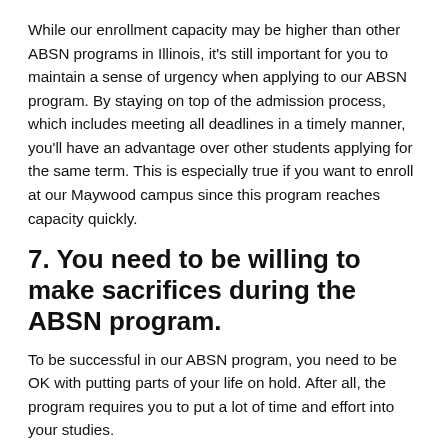While our enrollment capacity may be higher than other ABSN programs in Illinois, it's still important for you to maintain a sense of urgency when applying to our ABSN program. By staying on top of the admission process, which includes meeting all deadlines in a timely manner, you'll have an advantage over other students applying for the same term. This is especially true if you want to enroll at our Maywood campus since this program reaches capacity quickly.
7. You need to be willing to make sacrifices during the ABSN program.
To be successful in our ABSN program, you need to be OK with putting parts of your life on hold. After all, the program requires you to put a lot of time and effort into your studies.
“There may be times when you need to devote 60 hours a week to your studies to be able to keep